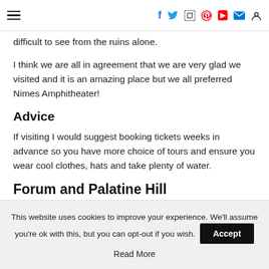Navigation bar with hamburger menu and social icons: Facebook, Twitter, Instagram, Pinterest, YouTube, Email, Search
difficult to see from the ruins alone.
I think we are all in agreement that we are very glad we visited and it is an amazing place but we all preferred Nimes Amphitheater!
Advice
If visiting I would suggest booking tickets weeks in advance so you have more choice of tours and ensure you wear cool clothes, hats and take plenty of water.
Forum and Palatine Hill
This website uses cookies to improve your experience. We'll assume you're ok with this, but you can opt-out if you wish. Accept Read More